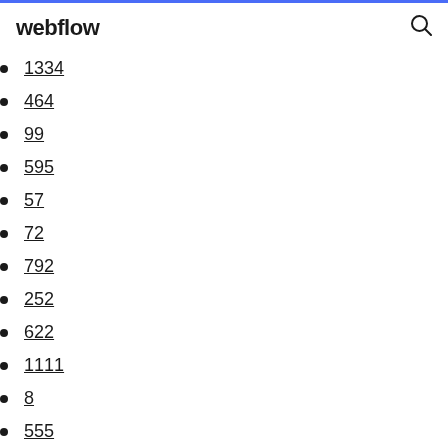webflow
1334
464
99
595
57
72
792
252
622
1111
8
555
32